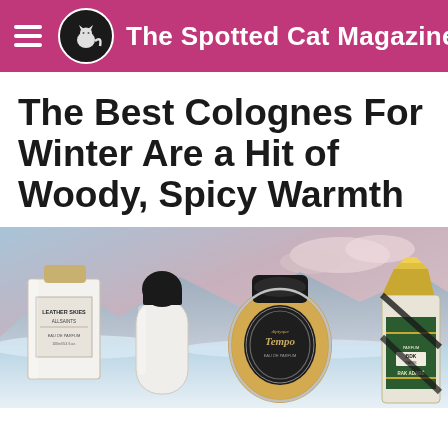The Spotted Cat Magazine
The Best Colognes For Winter Are a Hit of Woody, Spicy Warmth
[Figure (photo): Four cologne/perfume bottles arranged against a snowy winter landscape with mountains and dramatic pink-blue sky. Bottles from left to right: AllSaints Leather Skies Eau de Parfum (square white bottle), a white rounded bottle, Diptyque Tempo oval bottle, and Bdk Parfums Rak Adabe bottle in green/gold.]